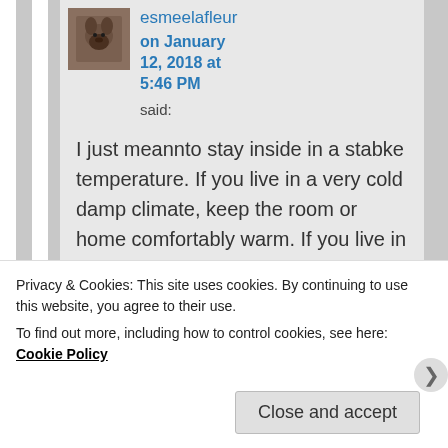[Figure (photo): User avatar photo of a dog/animal, brownish tones]
esmeelafleur on January 12, 2018 at 5:46 PM said:
I just meannto stay inside in a stabke temperature. If you live in a very cold damp climate, keep the room or home comfortably warm. If you live in a hot dry climate, keep the
Privacy & Cookies: This site uses cookies. By continuing to use this website, you agree to their use.
To find out more, including how to control cookies, see here: Cookie Policy
Close and accept